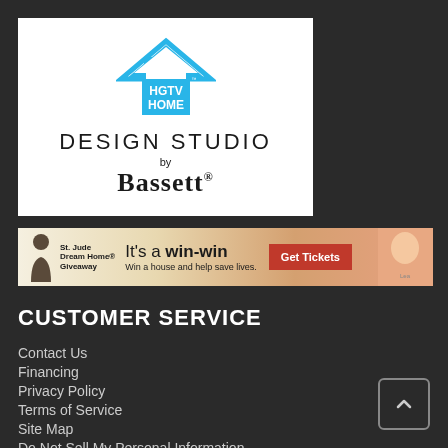[Figure (logo): HGTV Home Design Studio by Bassett logo — a cyan/blue house icon with HGTV HOME text inside, below reads DESIGN STUDIO by Bassett in dark text on white background]
[Figure (infographic): St. Jude Dream Home Giveaway advertisement banner — It's a win-win, Win a house and help save lives, Get Tickets button, with a child's face on the right]
CUSTOMER SERVICE
Contact Us
Financing
Privacy Policy
Terms of Service
Site Map
Do Not Sell My Personal Information